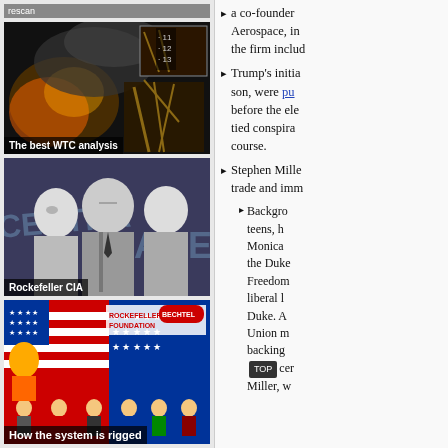rescan
[Figure (screenshot): Video thumbnail: dark image with explosion/fire, overlay numbers 11, 12, 13 in top right corner. Caption: 'The best WTC analysis']
[Figure (photo): Photo of three men in black and white, 'CENTRAL' and 'AGE' text visible in background, caption 'Rockefeller CIA']
[Figure (illustration): Colorful political collage illustration with text 'ROCKEFELLER FOUNDATION', 'BECHTEL', American flag imagery and figures, caption 'How the system is rigged']
a co-founder of Aerospace, in the firm includ
Trump's initia son, were pu before the ele tied conspira course.
Stephen Mille trade and imm
Background teens, h Monica the Duke Freedom liberal l Duke. A Union m backing Spencer Miller, w